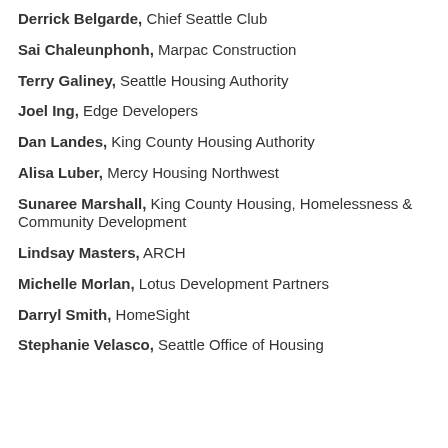Derrick Belgarde, Chief Seattle Club
Sai Chaleunphonh, Marpac Construction
Terry Galiney, Seattle Housing Authority
Joel Ing, Edge Developers
Dan Landes, King County Housing Authority
Alisa Luber, Mercy Housing Northwest
Sunaree Marshall, King County Housing, Homelessness & Community Development
Lindsay Masters, ARCH
Michelle Morlan, Lotus Development Partners
Darryl Smith, HomeSight
Stephanie Velasco, Seattle Office of Housing